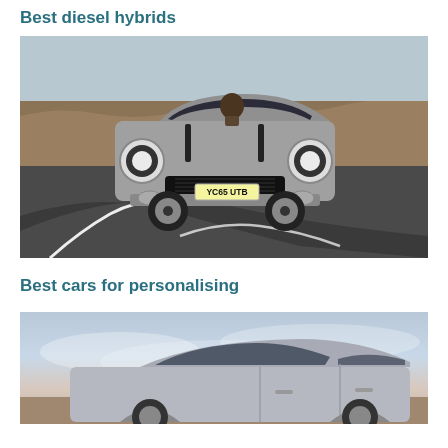Best diesel hybrids
[Figure (photo): A silver MINI Clubman S (registration YC65 UTB) driving on a winding rural road with moorland in the background]
Best cars for personalising
[Figure (photo): A car partially visible at the bottom of the page, photographed against a pastel sky at dusk]